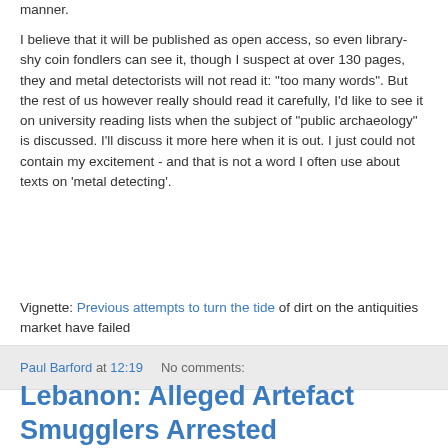manner.
I believe that it will be published as open access, so even library-shy coin fondlers can see it, though I suspect at over 130 pages, they and metal detectorists will not read it: "too many words". But the rest of us however really should read it carefully, I'd like to see it on university reading lists when the subject of "public archaeology" is discussed. I'll discuss it more here when it is out. I just could not contain my excitement - and that is not a word I often use about texts on 'metal detecting'.
Vignette: Previous attempts to turn the tide of dirt on the antiquities market have failed
Paul Barford at 12:19    No comments:
Lebanon: Alleged Artefact Smugglers Arrested